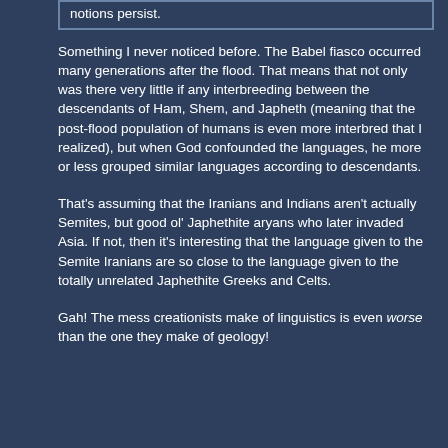notions persist.
Something I never noticed before. The Babel fiasco occurred many generations after the flood. That means that not only was there very little if any interbreeding between the descendants of Ham, Shem, and Japheth (meaning that the post-flood population of humans is even more interbred that I realized), but when God confounded the languages, he more or less grouped similar languages according to descendants.
That's assuming that the Iranians and Indians aren't actually Semites, but good ol' Japhethite aryans who later invaded Asia. If not, then it's interesting that the language given to the Semite Iranians are so close to the language given to the totally unrelated Japhethite Greeks and Celts.
Gah! The mess creationists make of linguistics is even worse than the one they make of geology!